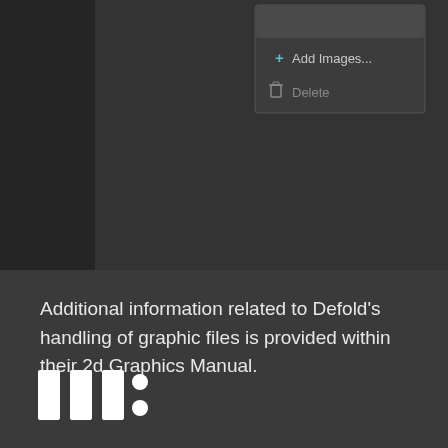[Figure (screenshot): Dark UI screenshot showing a dropdown/context menu with '+ Add Images...' in blue/teal text and 'Delete' option with a trash icon below it, on a dark gray background panel.]
Additional information related to Defold's handling of graphic files is provided within their 2d Graphics Manual.
[Figure (logo): Partial logo mark showing three vertical white bars followed by a colon, resembling a logo/watermark at the bottom left.]